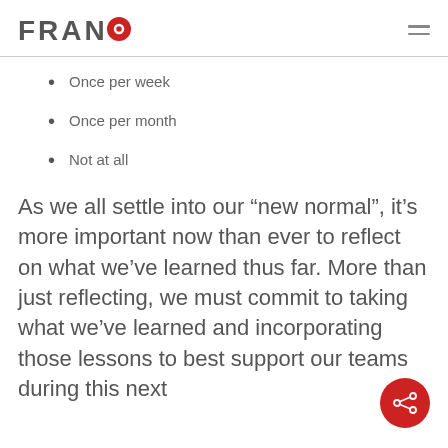FRANCO
Once per week
Once per month
Not at all
As we all settle into our “new normal”, it’s more important now than ever to reflect on what we’ve learned thus far. More than just reflecting, we must commit to taking what we’ve learned and incorporating those lessons to best support our teams during this next